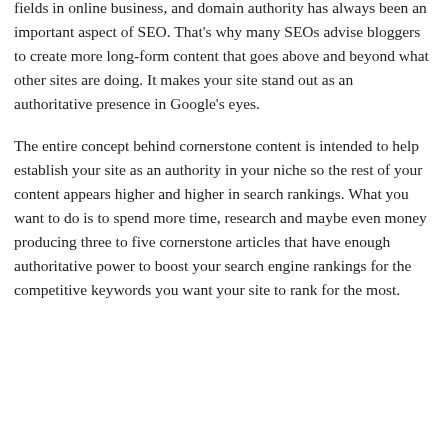Content marketing and SEO are competitive fields in online business, and domain authority has always been an important aspect of SEO. That's why many SEOs advise bloggers to create more long-form content that goes above and beyond what other sites are doing. It makes your site stand out as an authoritative presence in Google's eyes.
The entire concept behind cornerstone content is intended to help establish your site as an authority in your niche so the rest of your content appears higher and higher in search rankings. What you want to do is to spend more time, research and maybe even money producing three to five cornerstone articles that have enough authoritative power to boost your search engine rankings for the competitive keywords you want your site to rank for the most.